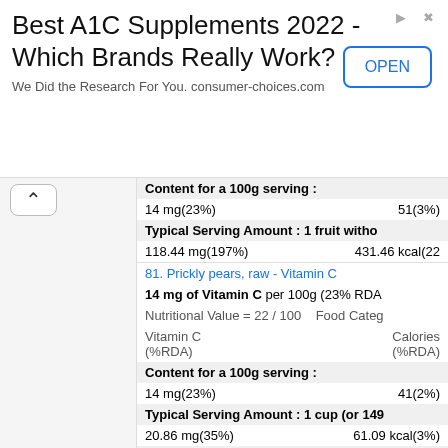[Figure (other): Advertisement banner: Best A1C Supplements 2022 - Which Brands Really Work? We Did the Research For You. consumer-choices.com with OPEN button]
Content for a 100g serving : 14 mg(23%)   51(3%)
Typical Serving Amount : 1 fruit witho... 118.44 mg(197%)   431.46 kcal(22...)
81. Prickly pears, raw - Vitamin C
14 mg of Vitamin C per 100g (23% RDA)
Nutritional Value = 22 / 100    Food Categ...
Vitamin C (%RDA)    Calories (%RDA)
Content for a 100g serving : 14 mg(23%)   41(2%)
Typical Serving Amount : 1 cup (or 149... 20.86 mg(35%)   61.09 kcal(3%)
Other Serving Size : 1 fruit without ref... 14.42 mg(24%)   42.23 kcal(2%)
82. Jackfruit, raw - Vitamin C
13.7 mg of Vitamin C per 100g (23% RD...)
Nutritional Value = 16 / 100    Food Categ...
Vitamin C (%RDA)    Calories (%RDA)